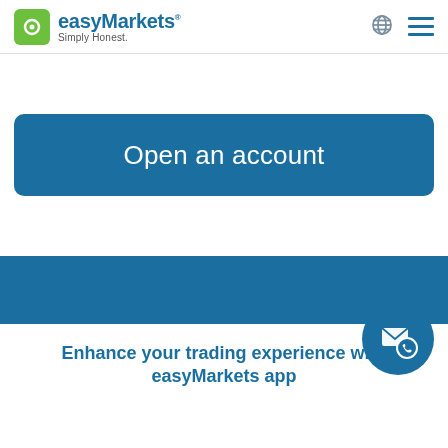easyMarkets Simply Honest.
Open an account
Enhance your trading experience with easyMarkets app
[Figure (logo): easyMarkets contact/support button icon with envelope and phone]